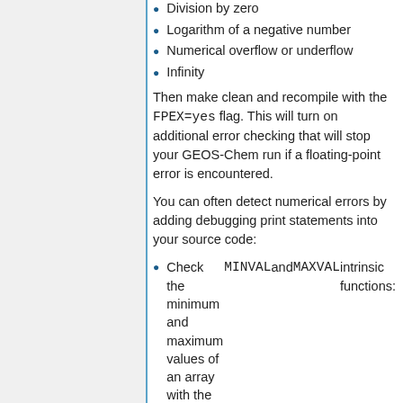Division by zero
Logarithm of a negative number
Numerical overflow or underflow
Infinity
Then make clean and recompile with the FPEX=yes flag. This will turn on additional error checking that will stop your GEOS-Chem run if a floating-point error is encountered.
You can often detect numerical errors by adding debugging print statements into your source code:
Check the minimum and maximum values of an array with the MINVAL and MAXVAL intrinsic functions:
PRINT*, '### Min, Max: ',
CALL FLUSH( 6 )
Check the sum of an array with the